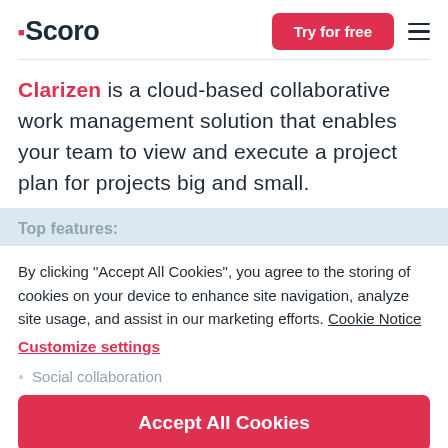Scoro — Try for free
Clarizen is a cloud-based collaborative work management solution that enables your team to view and execute a project plan for projects big and small.
Top features:
By clicking "Accept All Cookies", you agree to the storing of cookies on your device to enhance site navigation, analyze site usage, and assist in our marketing efforts. Cookie Notice
Customize settings
Accept All Cookies
Social collaboration
What's special about this tool: Clarizen...